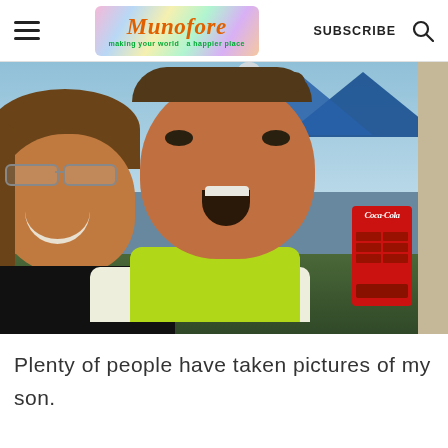Munofore - making your world a happier place | SUBSCRIBE
[Figure (photo): A woman with glasses smiling and a young boy with his mouth open in an excited expression, both outdoors near a Coca-Cola vending machine with blue tent/canopy in background]
Plenty of people have taken pictures of my son.